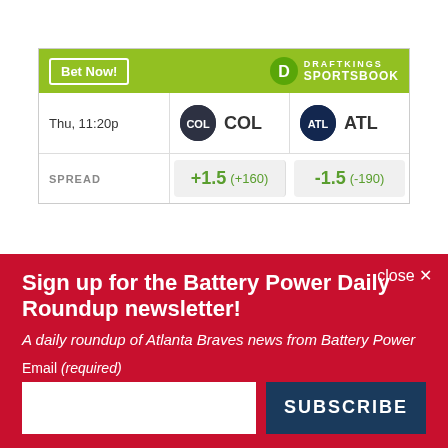[Figure (other): DraftKings Sportsbook betting widget showing Thu 11:20p game between COL and ATL with SPREAD: COL +1.5 (+160) vs ATL -1.5 (-190)]
close ×
Sign up for the Battery Power Daily Roundup newsletter!
A daily roundup of Atlanta Braves news from Battery Power
Email (required)
SUBSCRIBE
By submitting your email, you agree to our Terms and Privacy Notice. You can opt out at any time. This site is protected by reCAPTCHA and the Google Privacy Policy and Terms of Service apply.